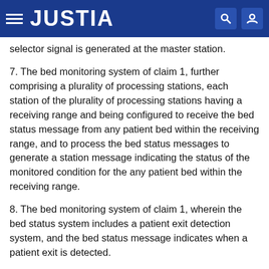JUSTIA
selector signal is generated at the master station.
7. The bed monitoring system of claim 1, further comprising a plurality of processing stations, each station of the plurality of processing stations having a receiving range and being configured to receive the bed status message from any patient bed within the receiving range, and to process the bed status messages to generate a station message indicating the status of the monitored condition for the any patient bed within the receiving range.
8. The bed monitoring system of claim 1, wherein the bed status system includes a patient exit detection system, and the bed status message indicates when a patient exit is detected.
9. The bed monitoring system of claim 1, wherein the